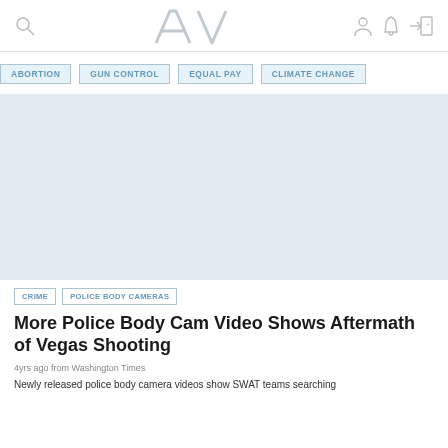AV (logo with navigation icons)
ABORTION
GUN CONTROL
EQUAL PAY
CLIMATE CHANGE
[Figure (photo): Large light blue-grey placeholder image for police body cam video article]
CRIME
POLICE BODY CAMERAS
More Police Body Cam Video Shows Aftermath of Vegas Shooting
4yrs ago from Washington Times
Newly released police body camera videos show SWAT teams searching